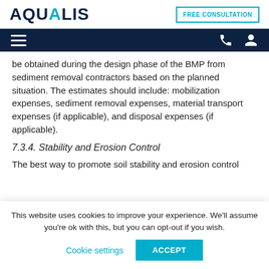AQUALIS | FREE CONSULTATION
be obtained during the design phase of the BMP from sediment removal contractors based on the planned situation. The estimates should include: mobilization expenses, sediment removal expenses, material transport expenses (if applicable), and disposal expenses (if applicable).
7.3.4. Stability and Erosion Control
The best way to promote soil stability and erosion control
This website uses cookies to improve your experience. We'll assume you're ok with this, but you can opt-out if you wish. Cookie settings ACCEPT